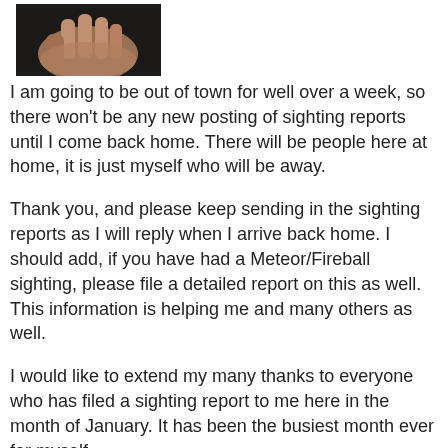[Figure (photo): Small thumbnail photo of a person's hand against a dark background]
I am going to be out of town for well over a week, so there won't be any new posting of sighting reports until I come back home. There will be people here at home, it is just myself who will be away.
Thank you, and please keep sending in the sighting reports as I will reply when I arrive back home. I should add, if you have had a Meteor/Fireball sighting, please file a detailed report on this as well. This information is helping me and many others as well.
I would like to extend my many thanks to everyone who has filed a sighting report to me here in the month of January. It has been the busiest month ever for myself.
There have been “445” sightings that have been posted to the Vike Factor in January alone. This is a new record. :)
Also, I did a rough count for the reports I have not posted as of yet, and there is approximately another “90” reports that